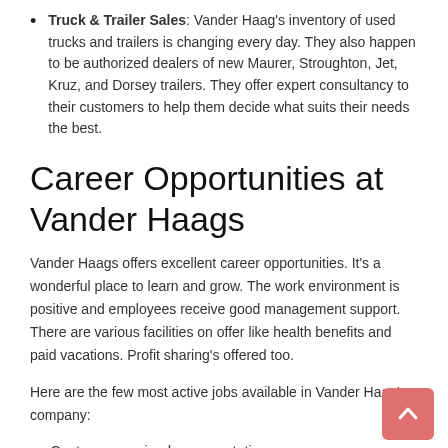Truck & Trailer Sales: Vander Haag's inventory of used trucks and trailers is changing every day. They also happen to be authorized dealers of new Maurer, Stroughton, Jet, Kruz, and Dorsey trailers. They offer expert consultancy to their customers to help them decide what suits their needs the best.
Career Opportunities at Vander Haags
Vander Haags offers excellent career opportunities. It's a wonderful place to learn and grow. The work environment is positive and employees receive good management support. There are various facilities on offer like health benefits and paid vacations. Profit sharing's offered too.
Here are the few most active jobs available in Vander Haag's company:
Customer serviced representative
Demanufacturing Technician